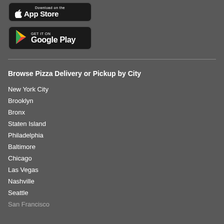[Figure (screenshot): App Store download button - black rounded rectangle with Apple logo and 'Download on the App Store' text]
[Figure (screenshot): Google Play download button - black rounded rectangle with Google Play triangle logo and 'GET IT ON Google Play' text]
Browse Pizza Delivery or Pickup by City
New York City
Brooklyn
Bronx
Staten Island
Philadelphia
Baltimore
Chicago
Las Vegas
Nashville
Seattle
San Francisco